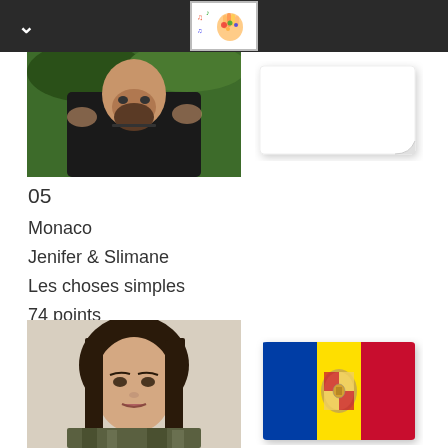Music competition website header
[Figure (photo): Close-up photo of a male artist with dark beard and black shirt against a green background]
[Figure (photo): White curved/folded paper or flag placeholder on right side]
05
Monaco
Jenifer & Slimane
Les choses simples
74 points
[Figure (photo): Portrait photo of a young woman with long dark brown hair with bangs, wearing camouflage jacket]
[Figure (illustration): Andorra flag emoji - three vertical stripes blue, yellow, red with coat of arms in center]